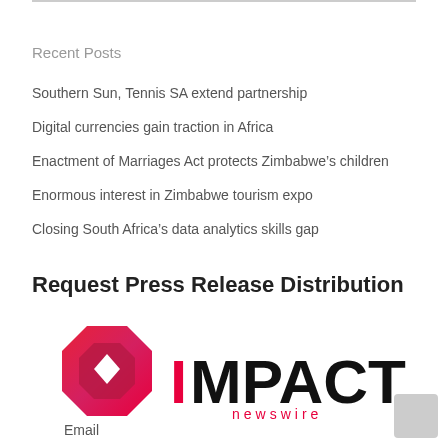Recent Posts
Southern Sun, Tennis SA extend partnership
Digital currencies gain traction in Africa
Enactment of Marriages Act protects Zimbabwe's children
Enormous interest in Zimbabwe tourism expo
Closing South Africa's data analytics skills gap
Request Press Release Distribution
[Figure (logo): Impact Newswire logo: red octagon geometric shape with white diamond cutout on left, bold black text IMPACT with red I on right, lowercase 'newswire' in red below]
Email